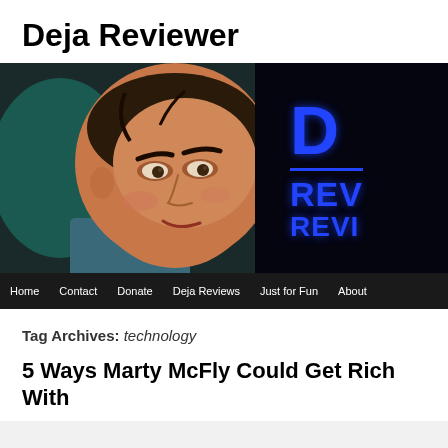Deja Reviewer
[Figure (photo): Banner image showing an animated character face (brown hair, stylized CG) on left side with dark background and blue neon 'D' and 'REVI' text on the right side]
Home   Contact   Donate   Deja Reviews   Just for Fun   About
Tag Archives: technology
5 Ways Marty McFly Could Get Rich With